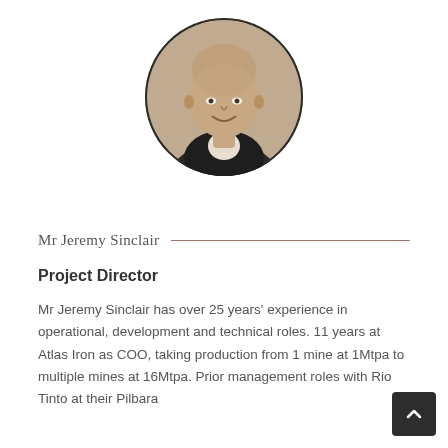[Figure (photo): Circular black and white portrait photo of Mr Jeremy Sinclair, a bald smiling man wearing a suit and open-collar shirt.]
Mr Jeremy Sinclair
Project Director
Mr Jeremy Sinclair has over 25 years' experience in operational, development and technical roles. 11 years at Atlas Iron as COO, taking production from 1 mine at 1Mtpa to multiple mines at 16Mtpa. Prior management roles with Rio Tinto at their Pilbara